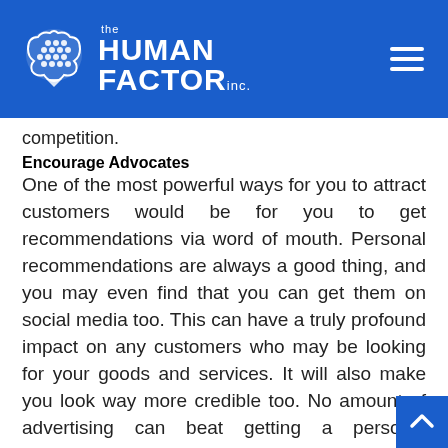[Figure (logo): The Human Factor Inc. logo with brain icon on blue header bar with hamburger menu]
competition.
Encourage Advocates
One of the most powerful ways for you to attract customers would be for you to get recommendations via word of mouth. Personal recommendations are always a good thing, and you may even find that you can get them on social media too. This can have a truly profound impact on any customers who may be looking for your goods and services. It will also make you look way more credible too. No amount of advertising can beat getting a personal recommendation from a friend who you trust, so look at your key influencers. These are groups of people who may be showing a keen interest in your brand or your services. You have to make sure that your business supports the brands and individuals, as this is the best way for you to